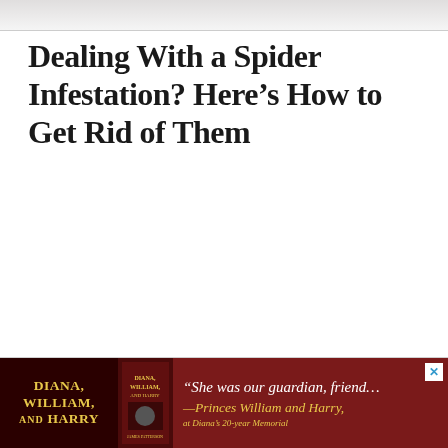[Figure (photo): Top portion of a page showing a faint image of a white surface, partially cropped]
Dealing With a Spider Infestation? Here’s How to Get Rid of Them
[Figure (infographic): Advertisement banner at the bottom for the book 'Diana, William, and Harry' with a dark red background, a book cover image, and the quote: “She was our guardian, friend…” —Princes William and Harry, at Diana’s 20-year Memorial]